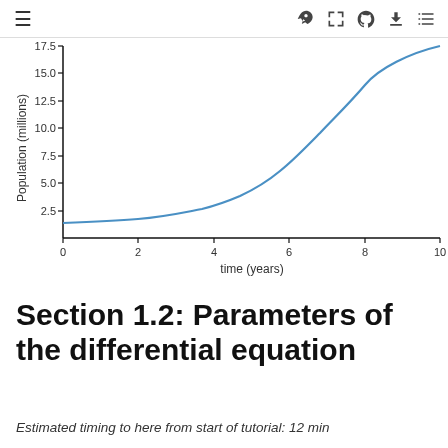≡ [navigation icons]
[Figure (continuous-plot): Exponential growth curve of Population (millions) vs time (years). Y-axis ranges from ~1 to 17.5 (millions), labeled at 2.5, 5.0, 7.5, 10.0, 12.5, 15.0, 17.5. X-axis ranges from 0 to 10 (years), labeled at 0, 2, 4, 6, 8, 10. The curve starts near 1 million at time 0 and grows exponentially to ~17.5 million at time 10.]
Section 1.2: Parameters of the differential equation
Estimated timing to here from start of tutorial: 12 min